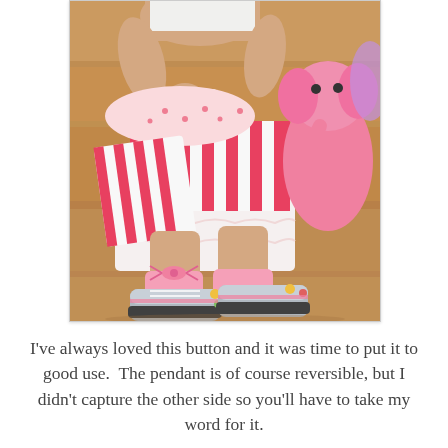[Figure (photo): Photo of a young child sitting on a hardwood floor, wearing a layered pink and white striped skirt/dress with ruffles, gray sneakers with colorful designs, and pink socks with a bow. The child is holding what appears to be a pendant or button. A large pink plush stuffed animal is visible beside the child.]
I've always loved this button and it was time to put it to good use.  The pendant is of course reversible, but I didn't capture the other side so you'll have to take my word for it.